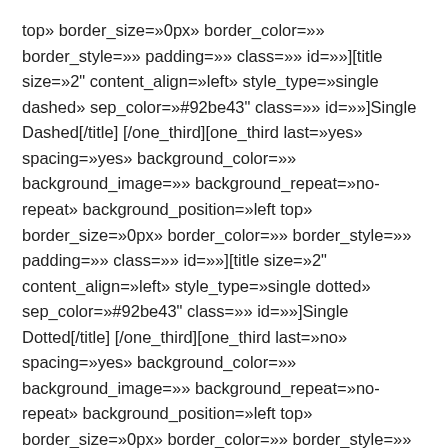top» border_size=»0px» border_color=»» border_style=»» padding=»» class=»» id=»»][title size=»2" content_align=»left» style_type=»single dashed» sep_color=»#92be43" class=»» id=»»]Single Dashed[/title][/one_third][one_third last=»yes» spacing=»yes» background_color=»» background_image=»» background_repeat=»no-repeat» background_position=»left top» border_size=»0px» border_color=»» border_style=»» padding=»» class=»» id=»»][title size=»2" content_align=»left» style_type=»single dotted» sep_color=»#92be43" class=»» id=»»]Single Dotted[/title][/one_third][one_third last=»no» spacing=»yes» background_color=»» background_image=»» background_repeat=»no-repeat» background_position=»left top» border_size=»0px» border_color=»» border_style=»» padding=»» class=»» id=»»][title size=»2" content_align=»left» style_type=»double solid»